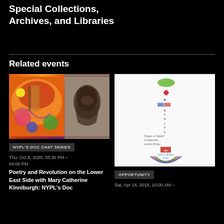Special Collections, Archives, and Libraries
Related events
[Figure (photo): Two images side by side: left is a colorful painting with orange and red hues depicting abstract/folk art figures; right is a dark portrait photograph of a person with long hair.]
NYPL'S DOC CHAT SERIES
Thu, Oct 8, 2020, 03:30 PM – 04:00 PM
Poetry and Revolution on the Lower East Side with Mary Catherine Kinniburgh: NYPL's Doc
[Figure (illustration): White background illustration with hand-lettered artistic text forming a vertical layout. Includes decorative leaf shape, colorful bowl/cup shape at bottom, and handwritten text fragments including 'A', 'ARCHIVE', and phrases like 'Use it, enjoy in its temporary presence'.]
OPPORTUNITY
Sat, Apr 14, 2018, 10:00 AM –